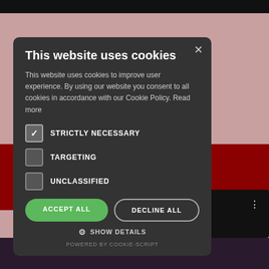[Figure (screenshot): Background webpage with dark top bar, reddish-pink upper area, dark red band in the middle, and a black thumbnail area with text 'orati...' and a three-dot menu icon. Dark purple bottom strip.]
This website uses cookies
This website uses cookies to improve user experience. By using our website you consent to all cookies in accordance with our Cookie Policy. Read more
STRICTLY NECESSARY (checked)
TARGETING (unchecked)
UNCLASSIFIED (unchecked)
ACCEPT ALL
DECLINE ALL
SHOW DETAILS
POWERED BY COOKIE-SCRIPT